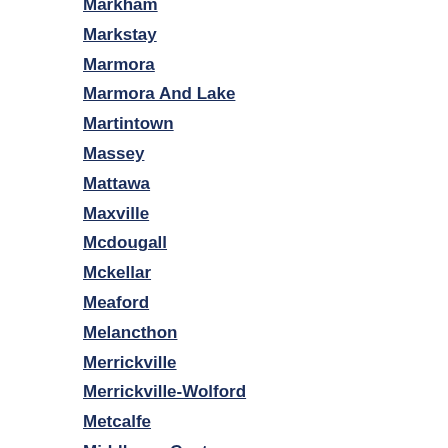Markham
Markstay
Marmora
Marmora And Lake
Martintown
Massey
Mattawa
Maxville
Mcdougall
Mckellar
Meaford
Melancthon
Merrickville
Merrickville-Wolford
Metcalfe
Middlesex Centre